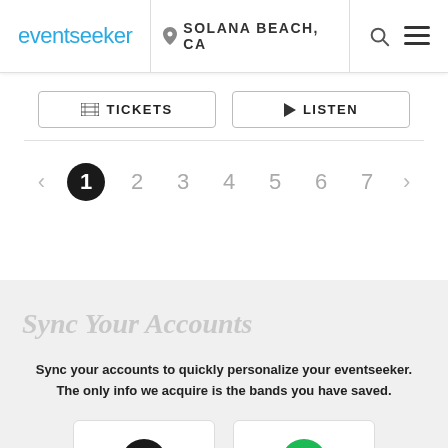eventseeker | SOLANA BEACH, CA
[Figure (screenshot): Tickets and Listen buttons with icons]
[Figure (infographic): Pagination bar: left arrow, 1 (active/filled), 2, 3, 4, 5, 6, 7, right arrow]
Sync Your Accounts
Sync your accounts to quickly personalize your eventseeker. The only info we acquire is the bands you have saved.
[Figure (screenshot): Two service sync buttons partially visible at bottom - one with black circle logo, one with green circle logo]